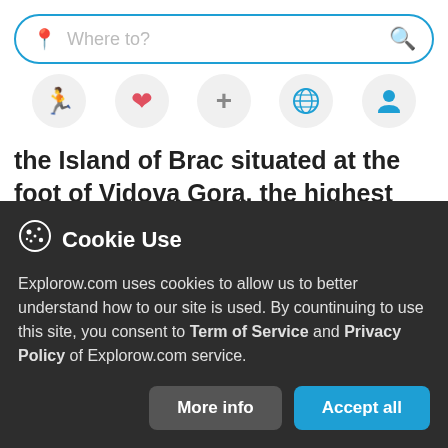[Figure (screenshot): Search bar with blue border, location pin icon on left and pink magnifying glass on right, placeholder text 'Where to?']
[Figure (infographic): Row of five icon circles: running person (purple), heart (red/pink), plus sign (gray), globe (blue), person/profile (blue)]
the Island of Brac situated at the foot of Vidova Gora, the highest peak of the Adriatic
Hvar   Map
Beaches  NatureViews  FamilyFun  BoatTours
Cookie Use
Explorow.com uses cookies to allow us to better understand how to our site is used. By countinuing to use this site, you consent to Term of Service and Privacy Policy of Explorow.com service.